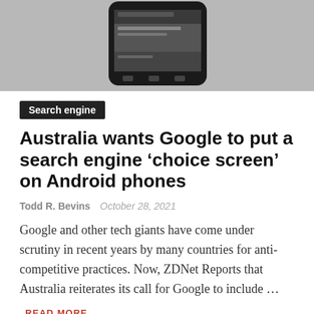[Figure (photo): A black Android smartphone displayed against a light grey background, showing a sports app or browser screen with 'Oklahoma City Thunder' visible.]
Search engine
Australia wants Google to put a search engine ‘choice screen’ on Android phones
Todd R. Bevins   October 28, 2021
Google and other tech giants have come under scrutiny in recent years by many countries for anti-competitive practices. Now, ZDNet Reports that Australia reiterates its call for Google to include …
READ MORE
default search – engine google – european union – go search – search engines – search results